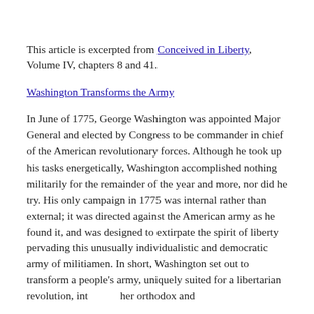This article is excerpted from Conceived in Liberty, Volume IV, chapters 8 and 41.
Washington Transforms the Army
In June of 1775, George Washington was appointed Major General and elected by Congress to be commander in chief of the American revolutionary forces. Although he took up his tasks energetically, Washington accomplished nothing militarily for the remainder of the year and more, nor did he try. His only campaign in 1775 was internal rather than external; it was directed against the American army as he found it, and was designed to extirpate the spirit of liberty pervading this unusually individualistic and democratic army of militiamen. In short, Washington set out to transform a people's army, uniquely suited for a libertarian revolution, into her orthodox and